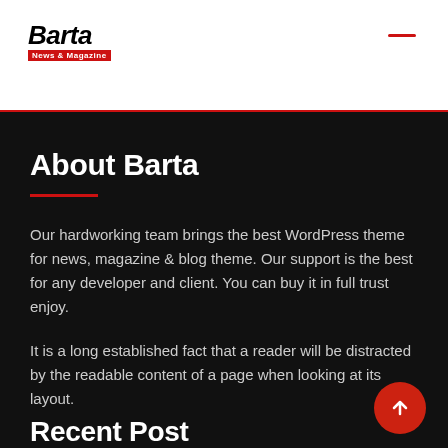Barta News & Magazine
About Barta
Our hardworking team brings the best WordPress theme for news, magazine & blog theme. Our support is the best for any developer and client. You can buy it in full trust enjoy.
It is a long established fact that a reader will be distracted by the readable content of a page when looking at its layout.
Recent Post